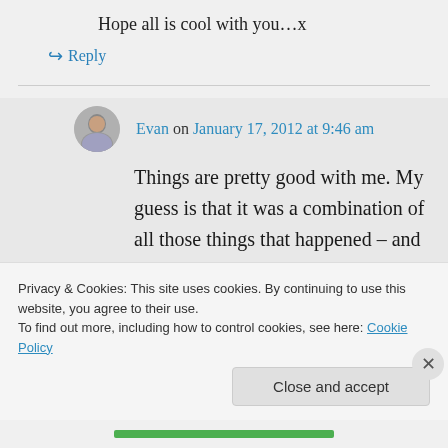Hope all is cool with you…x
↪ Reply
Evan on January 17, 2012 at 9:46 am
Things are pretty good with me. My guess is that it was a combination of all those things that happened – and that an analysis of them would lead to a good preliminary list of
Privacy & Cookies: This site uses cookies. By continuing to use this website, you agree to their use. To find out more, including how to control cookies, see here: Cookie Policy
Close and accept